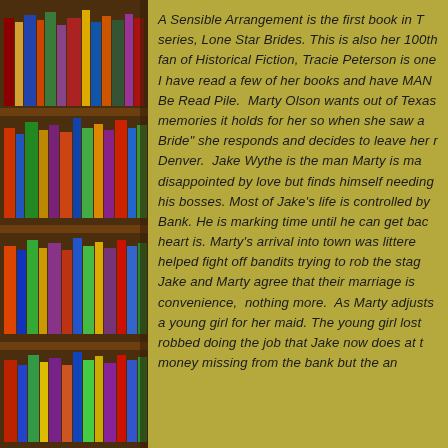[Figure (photo): A wooden bookshelf filled with colorful books of various sizes, photographed from the side, occupying the left portion of the page.]
A Sensible Arrangement is the first book in T series, Lone Star Brides. This is also her 100th fan of Historical Fiction, Tracie Peterson is one I have read a few of her books and have MAN Be Read Pile. Marty Olson wants out of Texas memories it holds for her so when she saw a Bride" she responds and decides to leave her r Denver. Jake Wythe is the man Marty is ma disappointed by love but finds himself needing his bosses. Most of Jake's life is controlled by Bank. He is marking time until he can get bac heart is. Marty's arrival into town was littere helped fight off bandits trying to rob the stag Jake and Marty agree that their marriage is convenience, nothing more. As Marty adjusts a young girl for her maid. The young girl lost robbed doing the job that Jake now does at t money missing from the bank but the an